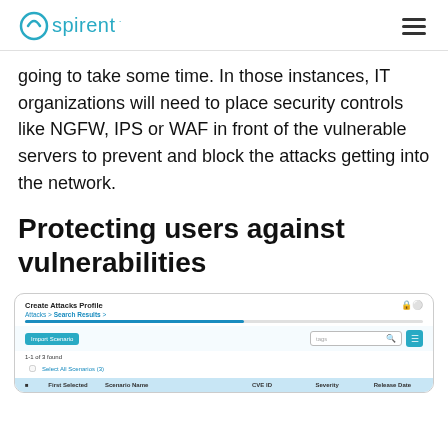Spirent logo and navigation
going to take some time. In those instances, IT organizations will need to place security controls like NGFW, IPS or WAF in front of the vulnerable servers to prevent and block the attacks getting into the network.
Protecting users against vulnerabilities
[Figure (screenshot): Screenshot of Spirent Create Attacks Profile interface showing a table with columns for Scenario Name, CVE ID, Severity, and Release Date, with an Import Scenario button and search/filter controls.]